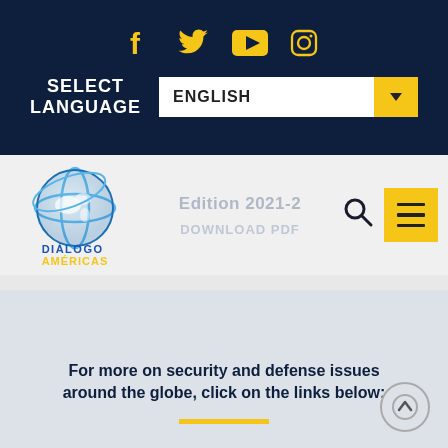[Figure (screenshot): Social media icons row: Facebook, Twitter, YouTube, Instagram in gold/yellow color on dark navy background]
SELECT LANGUAGE
ENGLISH (dropdown)
[Figure (logo): Diálogo Américas logo with globe graphic, blue and yellow text]
Edition 2021-2
DOWNLOAD PDF
For more on security and defense issues around the globe, click on the links below: